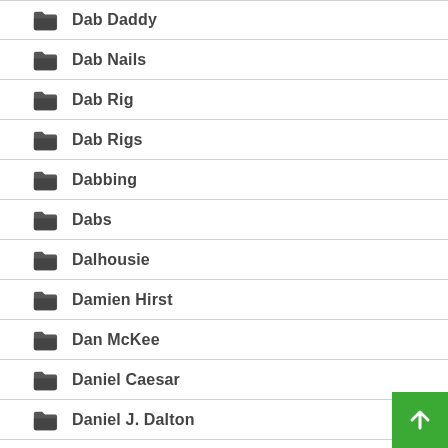Dab Daddy
Dab Nails
Dab Rig
Dab Rigs
Dabbing
Dabs
Dalhousie
Damien Hirst
Dan McKee
Daniel Caesar
Daniel J. Dalton
Danksgiving